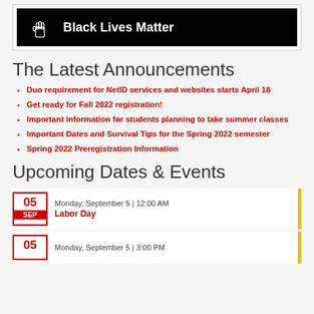[Figure (logo): Black Lives Matter banner with raised fist icon on black background]
The Latest Announcements
Duo requirement for NetID services and websites starts April 18
Get ready for Fall 2022 registration!
Important information for students planning to take summer classes
Important Dates and Survival Tips for the Spring 2022 semester
Spring 2022 Preregistration Information
Upcoming Dates & Events
Monday, September 5 | 12:00 AM — Labor Day (05 SEP)
Monday, September 5 | 3:00 PM (05)